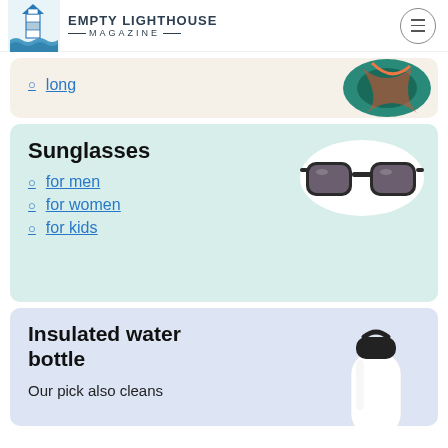EMPTY LIGHTHOUSE MAGAZINE
long
Sunglasses
for men
for women
for kids
Insulated water bottle
Our pick also cleans